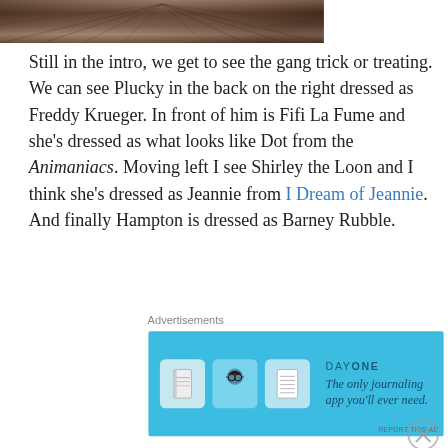[Figure (photo): Partial photo strip at top showing wood/perspective texture in dark brown tones]
Still in the intro, we get to see the gang trick or treating. We can see Plucky in the back on the right dressed as Freddy Krueger. In front of him is Fifi La Fume and she's dressed as what looks like Dot from the Animaniacs. Moving left I see Shirley the Loon and I think she's dressed as Jeannie from I Dream of Jeannie. And finally Hampton is dressed as Barney Rubble.
[Figure (screenshot): Advertisement: Day One journaling app. Blue background with app icons and text 'The only journaling app you'll ever need.']
Now let's get on to the show. The wraparound segments,
[Figure (screenshot): Advertisement: DuckDuckGo. Orange background with text 'Search, browse, and email with more privacy. All in One Free App' and DuckDuckGo logo on dark background.]